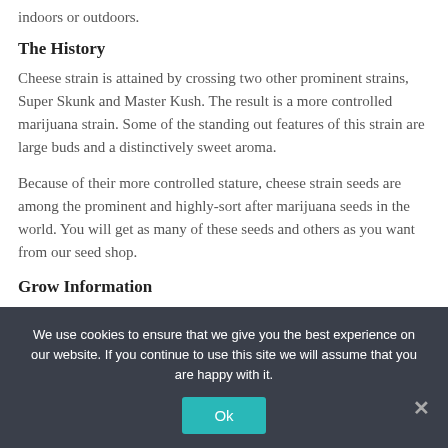indoors or outdoors.
The History
Cheese strain is attained by crossing two other prominent strains, Super Skunk and Master Kush. The result is a more controlled marijuana strain. Some of the standing out features of this strain are large buds and a distinctively sweet aroma.
Because of their more controlled stature, cheese strain seeds are among the prominent and highly-sort after marijuana seeds in the world. You will get as many of these seeds and others as you want from our seed shop.
Grow Information
You can cultivate this strain indoors or outdoors with
We use cookies to ensure that we give you the best experience on our website. If you continue to use this site we will assume that you are happy with it.